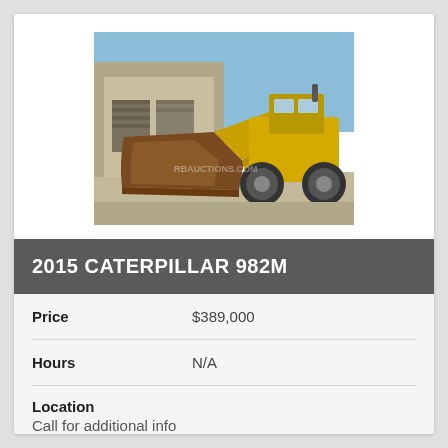[Figure (photo): Yellow Caterpillar 982M wheel loader parked in front of a warehouse building with blue sky in background]
2015 CATERPILLAR 982M
Price: $389,000
Hours: N/A
Location: Call for additional info
VIEW DETAILS